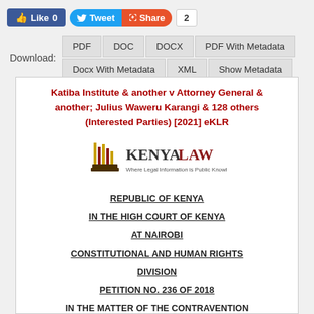[Figure (screenshot): Social media sharing buttons: Like 0, Tweet, Share, count 2]
[Figure (screenshot): Download buttons: PDF, DOC, DOCX, PDF With Metadata, Docx With Metadata, XML, Show Metadata]
Katiba Institute & another v Attorney General & another; Julius Waweru Karangi & 128 others (Interested Parties) [2021] eKLR
[Figure (logo): Kenya Law logo - Where Legal Information is Public Knowledge]
REPUBLIC OF KENYA
IN THE HIGH COURT OF KENYA
AT NAIROBI
CONSTITUTIONAL AND HUMAN RIGHTS DIVISION
PETITION NO. 236 OF 2018
IN THE MATTER OF THE CONTRAVENTION